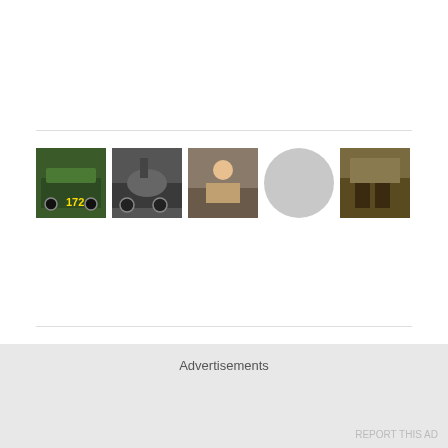[Figure (photo): Row of five thumbnail images: train locomotive, steam engine, person, silhouette placeholder, interior scene]
Follow Blog via Email
Enter your email address to follow this blog and receive notifications of new posts by email.
[Figure (screenshot): Email input field with placeholder text 'Enter your email address']
[Figure (screenshot): Follow button with rounded border]
Advertisements